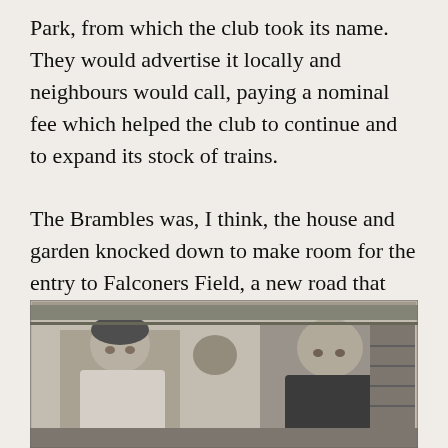Park, from which the club took its name. They would advertise it locally and neighbours would call, paying a nominal fee which helped the club to continue and to expand its stock of trains.

The Brambles was, I think, the house and garden knocked down to make room for the entry to Falconers Field, a new road that previously was only a field path. This was probably why the club had to move in 1961
[Figure (photo): Black and white newspaper photograph showing at least two people, a younger man on the left and an older bald man on the right, appearing to be seated at a table or display related to a model railway club.]